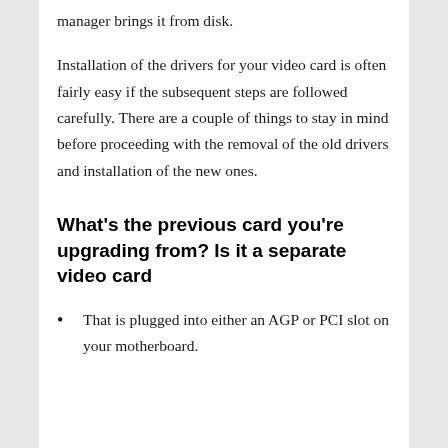manager brings it from disk.
Installation of the drivers for your video card is often fairly easy if the subsequent steps are followed carefully. There are a couple of things to stay in mind before proceeding with the removal of the old drivers and installation of the new ones.
What’s the previous card you’re upgrading from? Is it a separate video card
That is plugged into either an AGP or PCI slot on your motherboard.